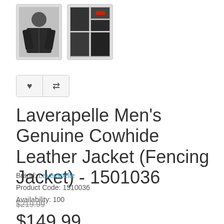[Figure (photo): Thumbnail image of a man wearing a black leather jacket]
[Figure (photo): Collage thumbnail showing multiple views of a black leather jacket with red label detail]
Laverapelle Men's Genuine Cowhide Leather Jacket (Fencing Jacket) - 1501036
Brand: Laverapelle
Product Code: 1510036
Availability: 100
$219.99
$149.99